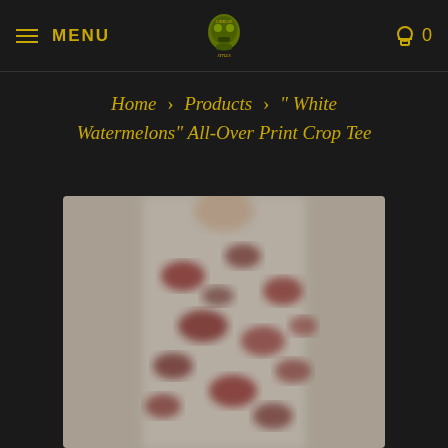MENU | [logo] | 0
Home > Products > " White Watermelons" All-Over Print Crop Tee
[Figure (photo): Product photo of a white crop tee with red watermelon all-over print pattern, shown on a model, blurred/low resolution]